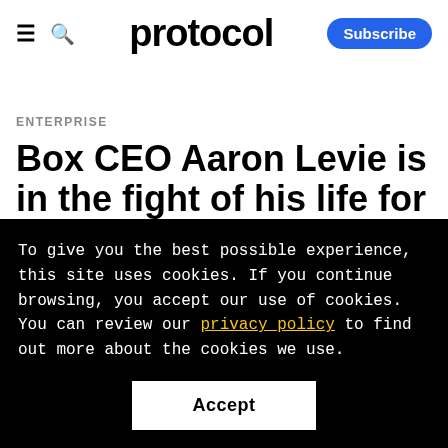protocol  Subscribe
ENTERPRISE
Box CEO Aaron Levie is in the fight of his life for his cloud company
To give you the best possible experience, this site uses cookies. If you continue browsing, you accept our use of cookies. You can review our privacy policy to find out more about the cookies we use.
Accept